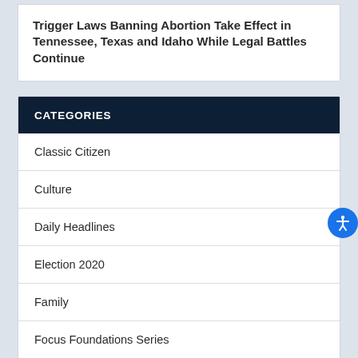Trigger Laws Banning Abortion Take Effect in Tennessee, Texas and Idaho While Legal Battles Continue
CATEGORIES
Classic Citizen
Culture
Daily Headlines
Election 2020
Family
Focus Foundations Series